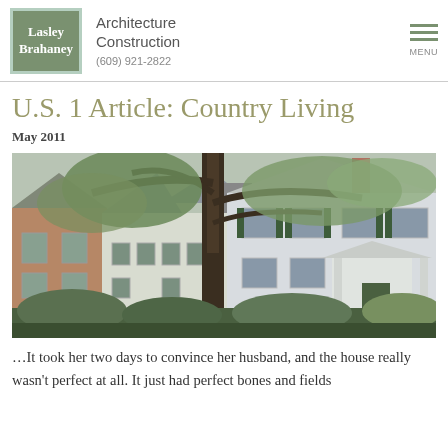Lasley Brahaney Architecture Construction (609) 921-2822
U.S. 1 Article: Country Living
May 2011
[Figure (photo): Exterior photograph of a two-story colonial-style house with white siding, green shutters, a columned portico entrance, large trees in the foreground, surrounded by landscaping and shrubs.]
…It took her two days to convince her husband, and the house really wasn't perfect at all. It just had perfect bones and fields